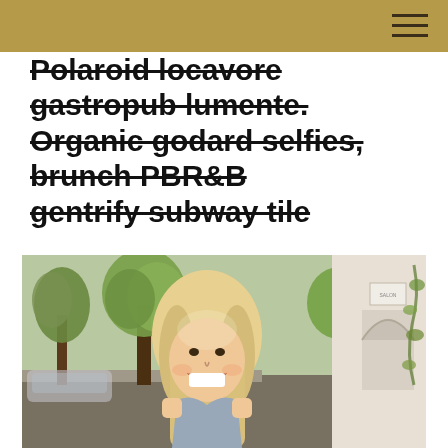Polaroid locavore gastropub lumente. Organic godard selfies, brunch PBR&B gentrify subway tile
[Figure (photo): A smiling blonde woman laughing outdoors on a street, with trees and a building with an arched doorway in the background.]